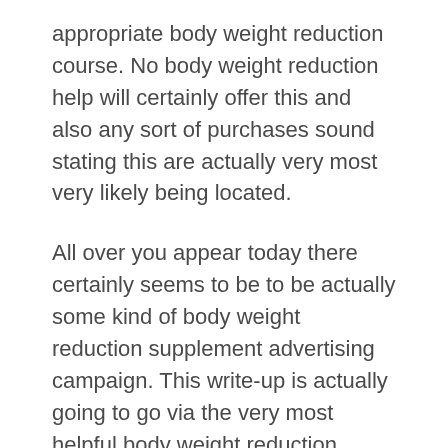appropriate body weight reduction course. No body weight reduction help will certainly offer this and also any sort of purchases sound stating this are actually very most very likely being located.
All over you appear today there certainly seems to be to be actually some kind of body weight reduction supplement advertising campaign. This write-up is actually going to go via the very most helpful body weight reduction supplements.
When once more this supplement possesses health and wellness perks to total health and wellness past body weight reduction; It can easily restrain the development of some cancers cells depending on to some researches. For body weight reduction it may assist accelerate up the metabolic rate to quit